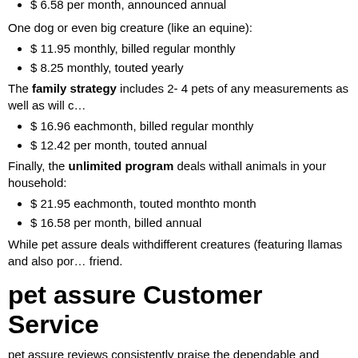$ 6.58 per month, announced annual
One dog or even big creature (like an equine):
$ 11.95 monthly, billed regular monthly
$ 8.25 monthly, touted yearly
The family strategy includes 2- 4 pets of any measurements as well as will c…
$ 16.96 eachmonth, billed regular monthly
$ 12.42 per month, touted annual
Finally, the unlimited program deals withall animals in your household:
$ 21.95 eachmonth, touted monthto month
$ 16.58 per month, billed annual
While pet assure deals withdifferent creatures (featuring llamas and also por… friend.
pet assure Customer Service
pet assure reviews consistently praise the dependable and pleasant client se… very little, and many issues get dealt within a singular communication.
pet assure Consumer Assesses [2021
Most pet assure strategy reviews online are very positive. Below are actually…